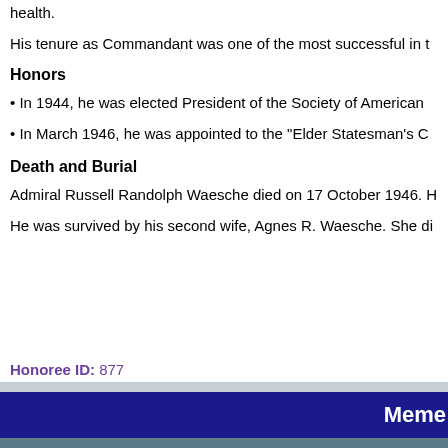health.
His tenure as Commandant was one of the most successful in t
Honors
• In 1944, he was elected President of the Society of American
• In March 1946, he was appointed to the "Elder Statesman's C
Death and Burial
Admiral Russell Randolph Waesche died on 17 October 1946. H
He was survived by his second wife, Agnes R. Waesche. She di
Honoree ID: 877
Meme
Military Hall of Honor
Privacy